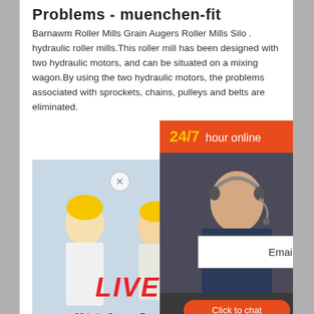Problems - muenchen-fit
Barnawm Roller Mills Grain Augers Roller Mills Silo . hydraulic roller mills.This roller mill has been designed with two hydraulic motors, and can be situated on a mixing wagon.By using the two hydraulic motors, the problems associated with sprockets, chains, pulleys and belts are eliminated.
[Figure (screenshot): Live Chat widget with workers in hard hats, red and dark chat buttons, email contact box]
[Figure (screenshot): Right sidebar with 24/7 hour online header, customer service agent photo, Click to chat button, Enquiry section, mumumugoods@gmail.com email]
[Figure (photo): Industrial mining/crushing machine (jaw crusher) in yellow color, LIMING brand]
ro m Farm